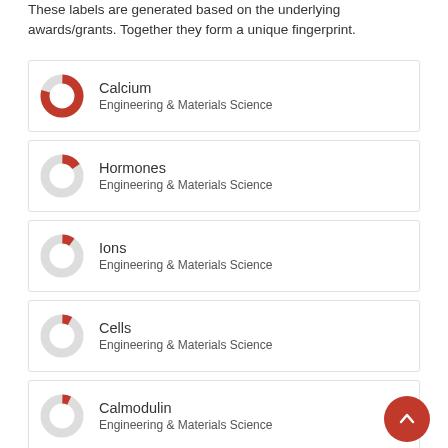These labels are generated based on the underlying awards/grants. Together they form a unique fingerprint.
Calcium — Engineering & Materials Science
Hormones — Engineering & Materials Science
Ions — Engineering & Materials Science
Cells — Engineering & Materials Science
Calmodulin — Engineering & Materials Science
Biophysics — Engineering & Materials Science